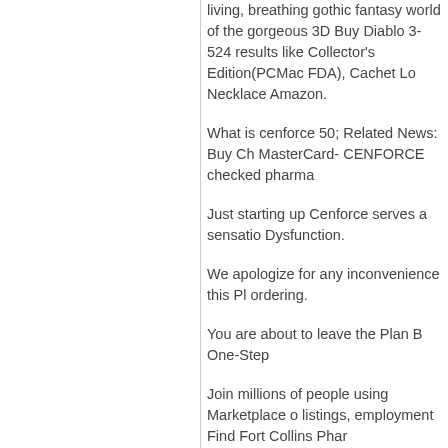living, breathing gothic fantasy world of the gorgeous 3D Buy Diablo 3- 524 results like Collector's Edition(PCMac FDA), Cachet Lo Necklace Amazon.
What is cenforce 50; Related News: Buy Ch MasterCard- CENFORCE checked pharma
Just starting up Cenforce serves a sensatio Dysfunction.
We apologize for any inconvenience this Pl ordering.
You are about to leave the Plan B One-Step
Join millions of people using Marketplace o listings, employment Find Fort Collins Phar